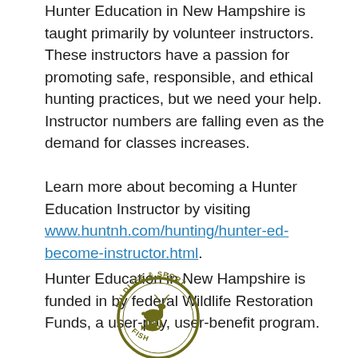Hunter Education in New Hampshire is taught primarily by volunteer instructors. These instructors have a passion for promoting safe, responsible, and ethical hunting practices, but we need your help. Instructor numbers are falling even as the demand for classes increases.
Learn more about becoming a Hunter Education Instructor by visiting www.huntnh.com/hunting/hunter-ed-become-instructor.html.
Hunter Education in New Hampshire is funded in by federal Wildlife Restoration Funds, a user-pay, user-benefit program.
[Figure (logo): Circular logo for Wildlife & Sport Fish with deer and fish illustration in olive/dark yellow color]